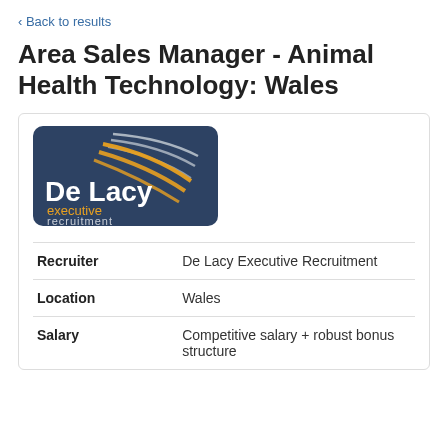< Back to results
Area Sales Manager - Animal Health Technology: Wales
[Figure (logo): De Lacy Executive Recruitment logo — dark blue rounded rectangle with swooping lines (white and gold) and white text 'De Lacy' with orange 'executive' and white 'recruitment' below]
|  |  |
| --- | --- |
| Recruiter | De Lacy Executive Recruitment |
| Location | Wales |
| Salary | Competitive salary + robust bonus structure |